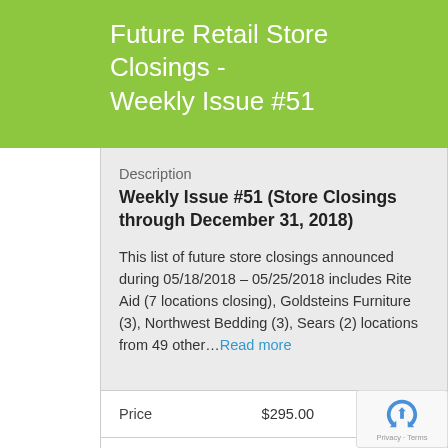Future Retail Store Closings - Weekly Issue #51
Description
Weekly Issue #51 (Store Closings through December 31, 2018)
This list of future store closings announced during 05/18/2018 – 05/25/2018 includes Rite Aid (7 locations closing), Goldsteins Furniture (3), Northwest Bedding (3), Sears (2) locations from 49 other…Read more
| Price |  |
| --- | --- |
| Price | $295.00 |